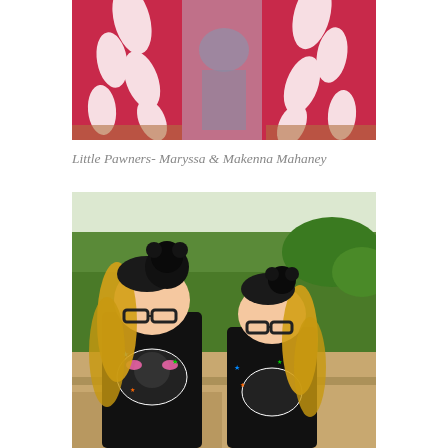[Figure (photo): Top portion of a photo showing red/pink fabric with white leaf patterns (curtains or clothing), with a person partially visible in the middle]
Little Pawners- Maryssa & Makenna Mahaney
[Figure (photo): Two young girls with matching black outfits featuring Hello Kitty or similar character design, with black and blonde curly hair in high ponytails with black floral accessories, wearing black-rimmed glasses, photographed outdoors on steps with green grass in the background]